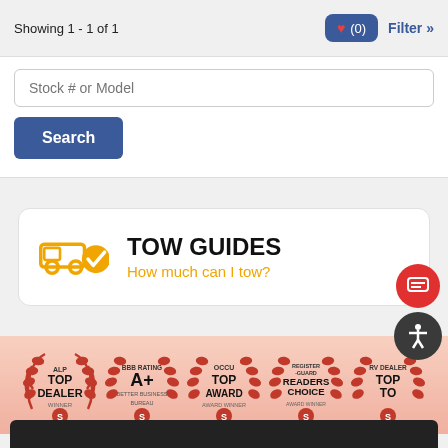Showing 1 - 1 of 1
❤ (0)
Filter »
Stock # or Model
Search
TOW GUIDES
How much can I tow?
[Figure (infographic): Award badges row: ALP TOP DEALER WINNER, BBB RATING A+ BETTER BUSINESS BUREAU, OCCU TOP AWARD AWARD WINNER, REGISTER GUARD READERS CHOICE AWARD WINNER, RV DEALER TOP (partially visible)]